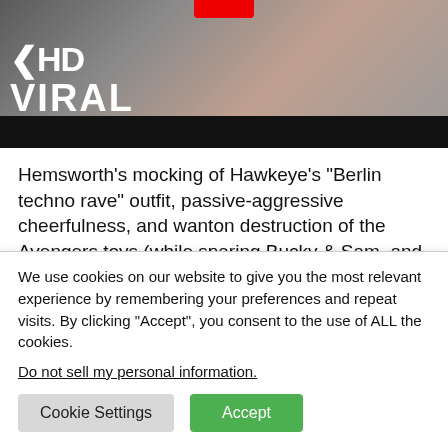[Figure (screenshot): KHD Viral website header image showing a muscular man in a black tank top, with the KHD VIRAL logo in white bold text on the left side, and a dark bar at the bottom.]
Hemsworth's mocking of Hawkeye's “Berlin techno rave” outfit, passive-aggressive cheerfulness, and wanton destruction of the Avengers toys (while sparing Bucky & Sam, and holding new best friend The Hulk close to his
We use cookies on our website to give you the most relevant experience by remembering your preferences and repeat visits. By clicking “Accept”, you consent to the use of ALL the cookies.
Do not sell my personal information.